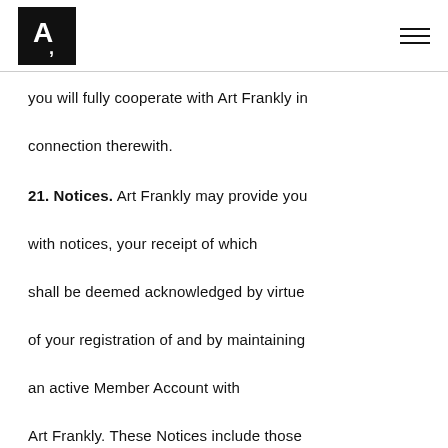Art Frankly logo and navigation
you will fully cooperate with Art Frankly in connection therewith.
21. Notices. Art Frankly may provide you with notices, your receipt of which shall be deemed acknowledged by virtue of your registration of and by maintaining an active Member Account with Art Frankly. These Notices include those